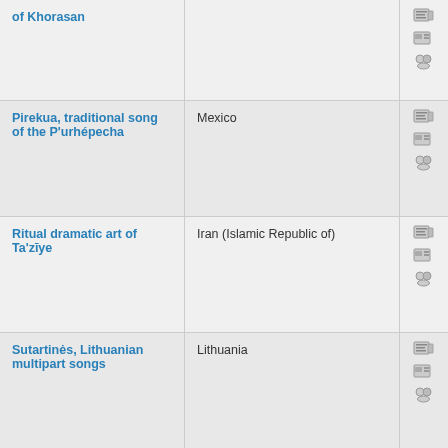| Name | Country | Resources |
| --- | --- | --- |
| of Khorasan |  |  |
| Pirekua, traditional song of the P'urhépecha | Mexico |  |
| Ritual dramatic art of Ta'zīye | Iran (Islamic Republic of) |  |
| Sutartinės, Lithuanian multipart songs | Lithuania |  |
| Traditional Sohbet meetings | Türkiye |  |
2009
Representative List of the Intangible Cultural Heritage of Humanity